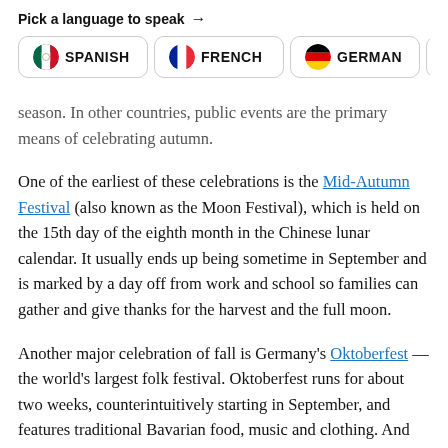Pick a language to speak →
season. In other countries, public events are the primary means of celebrating autumn.
One of the earliest of these celebrations is the Mid-Autumn Festival (also known as the Moon Festival), which is held on the 15th day of the eighth month in the Chinese lunar calendar. It usually ends up being sometime in September and is marked by a day off from work and school so families can gather and give thanks for the harvest and the full moon.
Another major celebration of fall is Germany's Oktoberfest — the world's largest folk festival. Oktoberfest runs for about two weeks, counterintuitively starting in September, and features traditional Bavarian food, music and clothing. And lots